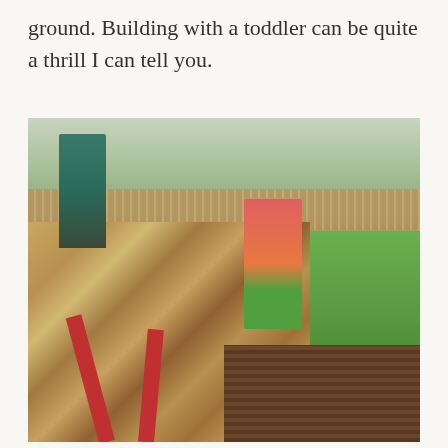ground. Building with a toddler can be quite a thrill I can tell you.
[Figure (photo): Outdoor backyard construction scene showing a large OSB/plywood board standing near a wooden deck, with children's play equipment (orange and green slide/chair) visible in the background, a garden umbrella, wooden fence, green lawn, and several red-handled tools in the foreground.]